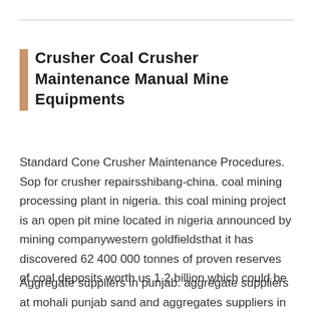Crusher Coal Crusher Maintenance Manual Mine Equipments
Standard Cone Crusher Maintenance Procedures. Sop for crusher repairsshibang-china. coal mining processing plant in nigeria. this coal mining project is an open pit mine located in nigeria announced by mining companywestern goldfieldsthat it has discovered 62 400 000 tonnes of proven reserves of coal deposits worth us 1.2 billion which could be
Aggregate suppliers in punjab. aggregate suppliers at mohali punjab sand and aggregates suppliers in punjab .